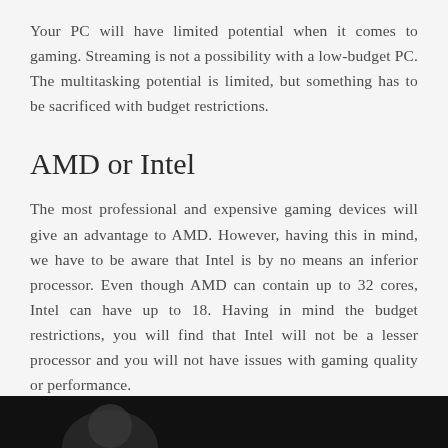Your PC will have limited potential when it comes to gaming. Streaming is not a possibility with a low-budget PC. The multitasking potential is limited, but something has to be sacrificed with budget restrictions.
AMD or Intel
The most professional and expensive gaming devices will give an advantage to AMD. However, having this in mind, we have to be aware that Intel is by no means an inferior processor. Even though AMD can contain up to 32 cores, Intel can have up to 18. Having in mind the budget restrictions, you will find that Intel will not be a lesser processor and you will not have issues with gaming quality or performance.
[Figure (photo): Dark image partially visible at the bottom of the page, appears to show a person]